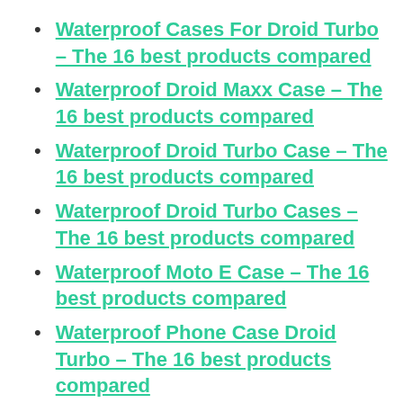Waterproof Cases For Droid Turbo – The 16 best products compared
Waterproof Droid Maxx Case – The 16 best products compared
Waterproof Droid Turbo Case – The 16 best products compared
Waterproof Droid Turbo Cases – The 16 best products compared
Waterproof Moto E Case – The 16 best products compared
Waterproof Phone Case Droid Turbo – The 16 best products compared
Waterproof Moto E Edition – The 16 best products compared (partial)